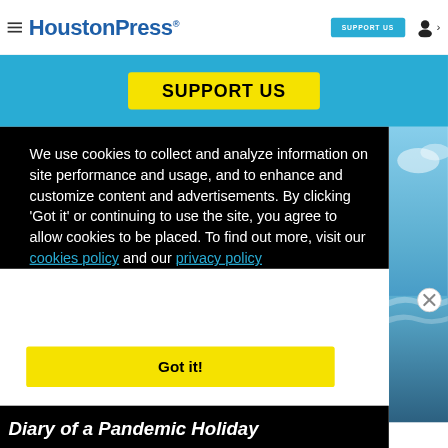HoustonPress — SUPPORT US
SUPPORT US
We use cookies to collect and analyze information on site performance and usage, and to enhance and customize content and advertisements. By clicking 'Got it' or continuing to use the site, you agree to allow cookies to be placed. To find out more, visit our cookies policy and our privacy policy
Got it!
Diary of a Pandemic Holiday